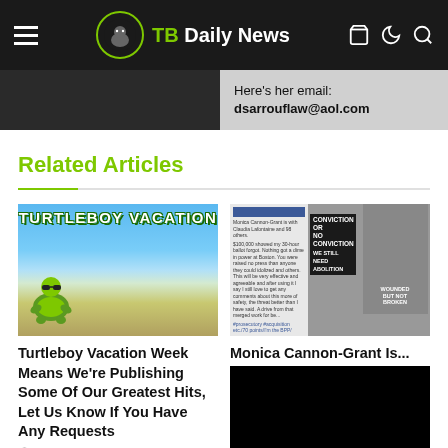TB Daily News
Here's her email: dsarrouflaw@aol.com
Related Articles
[Figure (photo): Turtleboy Vacation - cartoon turtle at a lake beach]
Turtleboy Vacation Week Means We're Publishing Some Of Our Greatest Hits, Let Us Know If You Have Any Requests
3 weeks ago
[Figure (photo): Social media post and protest photo with signs reading CONVICTION OR NO CONVICTION WE STILL NEED ABOLITION and person wearing WOUNDED BUT NOT BROKEN hoodie]
Monica Cannon-Grant Is...